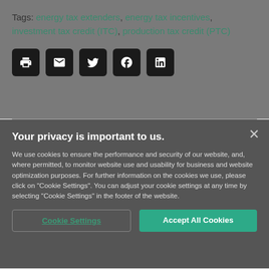Tags: energy tax extenders, energy tax incentives, investment tax credit (ITC), production tax credit (PTC)
[Figure (other): Row of 5 dark social sharing icon buttons: print, email, Twitter, Facebook, LinkedIn]
Your privacy is important to us.
We use cookies to ensure the performance and security of our website, and, where permitted, to monitor website use and usability for business and website optimization purposes. For further information on the cookies we use, please click on "Cookie Settings". You can adjust your cookie settings at any time by selecting "Cookie Settings" in the footer of the website.
Cookie Settings  |  Accept All Cookies